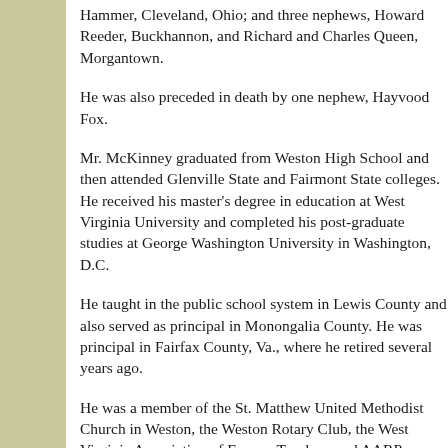Hammer, Cleveland, Ohio; and three nephews, Howard Reeder, Buckhannon, and Richard and Charles Queen, Morgantown.
He was also preceded in death by one nephew, Haywood Fox.
Mr. McKinney graduated from Weston High School and then attended Glenville State and Fairmont State colleges. He received his master's degree in education at West Virginia University and completed his post-graduate studies at George Washington University in Washington, D.C.
He taught in the public school system in Lewis County and also served as principal in Monongalia County. He was principal in Fairfax County, Va., where he retired several years ago.
He was a member of the St. Matthew United Methodist Church in Weston, the Weston Rotary Club, the West Virginia Association of Former Teachers and AARP.
Friends may call at the Boyle Funeral Home, 322 Main Ave., Weston, from 2-4 and 6-8 p.m. today, where the funeral services will be held at 10 a.m. Saturday from...